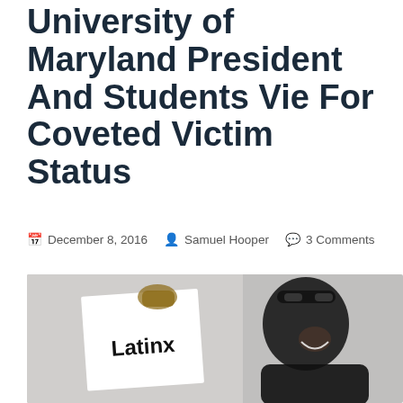University of Maryland President And Students Vie For Coveted Victim Status
December 8, 2016  Samuel Hooper  3 Comments
[Figure (photo): A smiling person holding a white sign reading 'Latinx', wearing sunglasses on their head and a dark jacket, photographed against a grey background.]